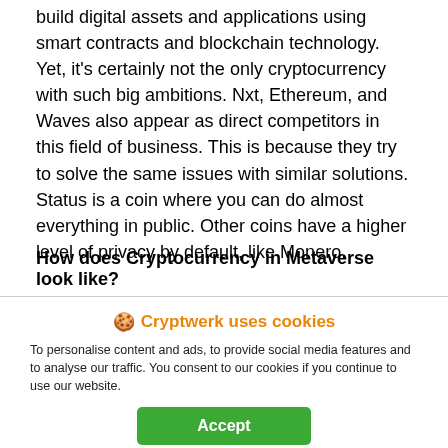build digital assets and applications using smart contracts and blockchain technology. Yet, it's certainly not the only cryptocurrency with such big ambitions. Nxt, Ethereum, and Waves also appear as direct competitors in this field of business. This is because they try to solve the same issues with similar solutions. Status is a coin where you can do almost everything in public. Other coins have a higher level of privacy by default, like Monero.
How does Cryptocurrency in Metaverse look like?
Like a lot of emerging cryptocurrencies, Metaverse is based on blockchain technology. It is an open-source, public platform built upon blockchain that is designed for scalable digitalized identities and assets. The Metaverse network can be used to create registered, exchanged, gambled. It can also be engaged in other activities that the digital works.
🍪 Cryptwerk uses cookies
To personalise content and ads, to provide social media features and to analyse our traffic. You consent to our cookies if you continue to use our website.